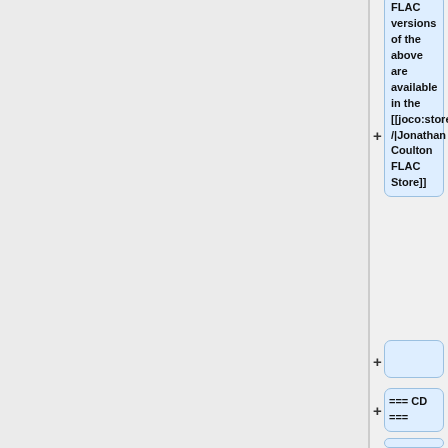FLAC versions of the above are available in the [[joco:store/flac/|Jonathan Coulton FLAC Store]]
=== CD ===
As of February 2008, the CD version of "Where Tradition Meets Tomorrow" is out of print and is no longer available.